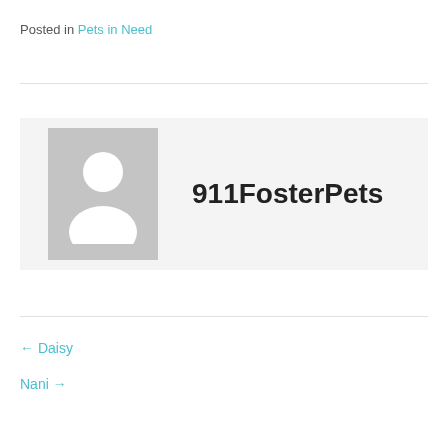Posted in Pets in Need
[Figure (illustration): Author profile box with grey placeholder avatar image and username '911FosterPets' in bold dark text]
← Daisy
Nani →